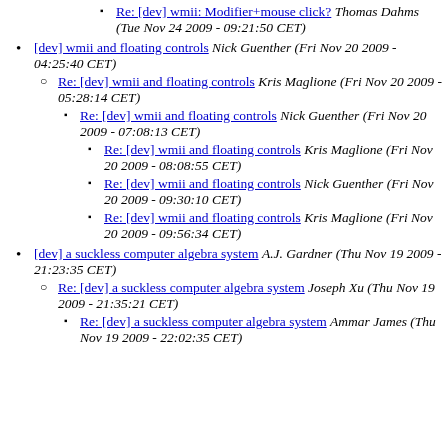Re: [dev] wmii: Modifier+mouse click? Thomas Dahms (Tue Nov 24 2009 - 09:21:50 CET)
[dev] wmii and floating controls Nick Guenther (Fri Nov 20 2009 - 04:25:40 CET)
Re: [dev] wmii and floating controls Kris Maglione (Fri Nov 20 2009 - 05:28:14 CET)
Re: [dev] wmii and floating controls Nick Guenther (Fri Nov 20 2009 - 07:08:13 CET)
Re: [dev] wmii and floating controls Kris Maglione (Fri Nov 20 2009 - 08:08:55 CET)
Re: [dev] wmii and floating controls Nick Guenther (Fri Nov 20 2009 - 09:30:10 CET)
Re: [dev] wmii and floating controls Kris Maglione (Fri Nov 20 2009 - 09:56:34 CET)
[dev] a suckless computer algebra system A.J. Gardner (Thu Nov 19 2009 - 21:23:35 CET)
Re: [dev] a suckless computer algebra system Joseph Xu (Thu Nov 19 2009 - 21:35:21 CET)
Re: [dev] a suckless computer algebra system Ammar James (Thu Nov 19 2009 - 22:02:35 CET)